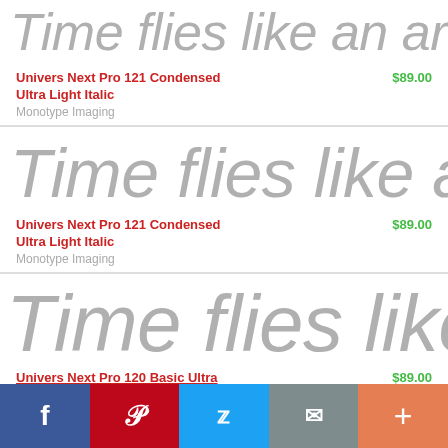[Figure (other): Font preview: italic ultra-light condensed text 'Time flies like an arrow, u' in large gray italic, clipped, small size]
Univers Next Pro 121 Condensed Ultra Light Italic   $89.00
Monotype Imaging
[Figure (other): Font preview: italic ultra-light condensed text 'Time flies like an arrow, u' in large gray italic, clipped, medium size]
Univers Next Pro 121 Condensed Ultra Light Italic   $89.00
Monotype Imaging
[Figure (other): Font preview: italic ultra-light text 'Time flies like an arr' in large gray italic, clipped, large size]
Univers Next Pro 120 Basic Ultra...   $89.00